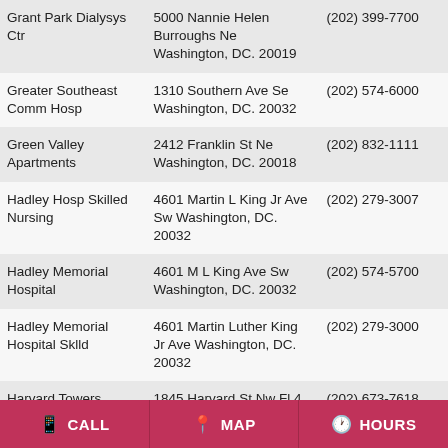| Name | Address | Phone |
| --- | --- | --- |
| Grant Park Dialysys Ctr | 5000 Nannie Helen Burroughs Ne Washington, DC. 20019 | (202) 399-7700 |
| Greater Southeast Comm Hosp | 1310 Southern Ave Se Washington, DC. 20032 | (202) 574-6000 |
| Green Valley Apartments | 2412 Franklin St Ne Washington, DC. 20018 | (202) 832-1111 |
| Hadley Hosp Skilled Nursing | 4601 Martin L King Jr Ave Sw Washington, DC. 20032 | (202) 279-3007 |
| Hadley Memorial Hospital | 4601 M L King Ave Sw Washington, DC. 20032 | (202) 574-5700 |
| Hadley Memorial Hospital Sklld | 4601 Martin Luther King Jr Ave Washington, DC. 20032 | (202) 279-3000 |
| Harvard Towers Senior Ctr | 1845 Harvard St Nw Fl 4 Washington, DC. 20009 | (202) 673-7618 |
| Hillcrest Childrens Center | 2570 Sherman Avenue Nw Washington, DC. 20001 | (202) 232-6100 |
| Hospice Of Washington | 3720 Upton St Nw | (202) 966-3720 |
CALL   MAP   HOURS